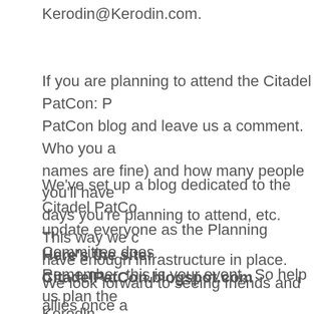Kerodin@Kerodin.com.
If you are planning to attend the Citadel PatCon: P PatCon blog and leave us a comment.  Who you a names are fine) and how many people you'll have days you're planning to attend, etc.  This way we c have enough infrastructure in place.
We've set up a blog dedicated to the Citadel PatCo update everyone as the Planning Committee does Remember, this is your event.  So help us plan the
Here's the site: CitadelPatCon.blogspot.com
We look forward to seeing friends and allies once a meeting new faces!
Kerodin